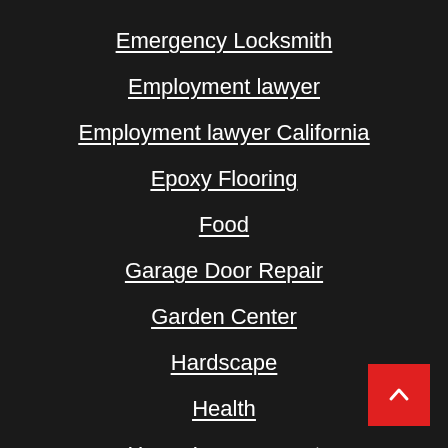Emergency Locksmith
Employment lawyer
Employment lawyer California
Epoxy Flooring
Food
Garage Door Repair
Garden Center
Hardscape
Health
Home Improvement